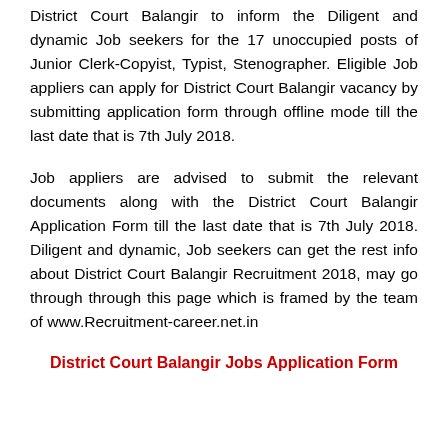District Court Balangir to inform the Diligent and dynamic Job seekers for the 17 unoccupied posts of Junior Clerk-Copyist, Typist, Stenographer. Eligible Job appliers can apply for District Court Balangir vacancy by submitting application form through offline mode till the last date that is 7th July 2018.
Job appliers are advised to submit the relevant documents along with the District Court Balangir Application Form till the last date that is 7th July 2018. Diligent and dynamic, Job seekers can get the rest info about District Court Balangir Recruitment 2018, may go through through this page which is framed by the team of www.Recruitment-career.net.in
District Court Balangir Jobs Application Form